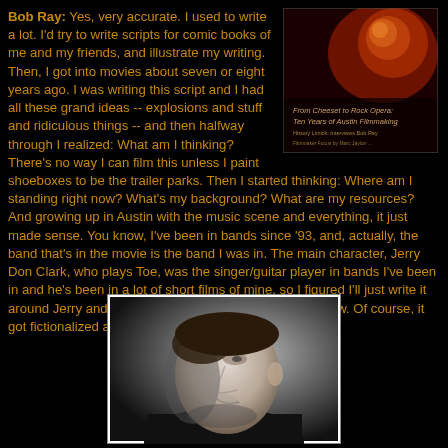Bob Ray: Yes, very accurate. I used to write a lot. I'd try to write scripts for comic books of me and my friends, and illustrate my writing. Then, I got into movies about seven or eight years ago. I was writing this script and I had all these grand ideas -- explosions and stuff and ridiculous things -- and then halfway through I realized: What am I thinking? There's no way I can film this unless I paint shoeboxes to be the trailer parks. Then I started thinking: Where am I standing right now? What's my background? What are my resources? And growing up in Austin with the music scene and everything, it just made sense. You know, I've been in bands since '93, and, actually, the band that's in the movie is the band I was in. The main character, Jerry Don Clark, who plays Toe, was the singer/guitar player in bands I've been in and he's been in a lot of short films of mine, so I figured I'll just write it around Jerry and write it around some experiences I know. Of course, it got fictionalized about two-thirds of the way through.
[Figure (photo): Magazine cover: From Cheeset to Rock Opera: Ten Years of Austin Filmmaking. Dark red/orange abstract image on cover with text.]
[Figure (photo): Black and white portrait photograph of a man looking downward, in profile/three-quarter view.]